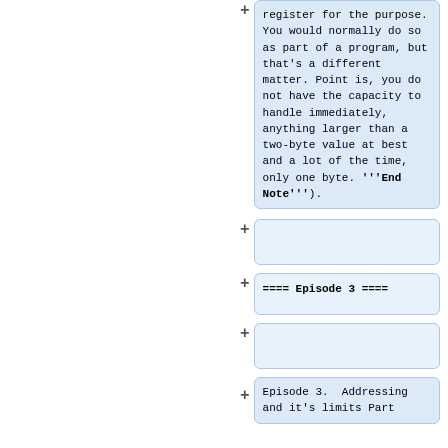register for the purpose. You would normally do so as part of a program, but that's a different matter. Point is, you do not have the capacity to handle immediately, anything larger than a two-byte value at best and a lot of the time, only one byte. '''End Note''').
==== Episode 3 ====
Episode 3.  Addressing and it's limits Part